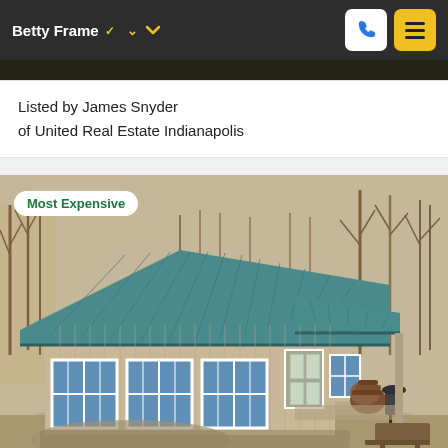Betty Frame
Listed by James Snyder
of United Real Estate Indianapolis
[Figure (photo): Aerial view of a small rural cabin/house with a teal metal roof, beige siding, large windows on the front, a porch area with firewood and a grill, surrounded by bare winter trees. A badge reads 'Most Expensive'.]